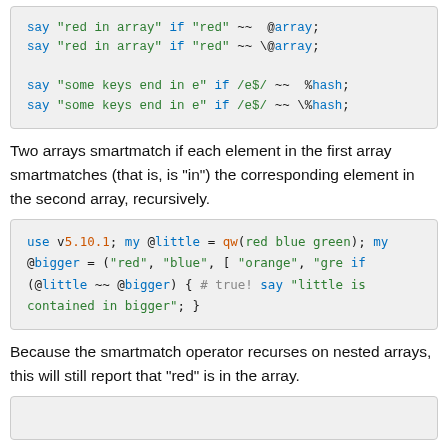[Figure (screenshot): Code block showing smartmatch array and hash examples with say statements]
Two arrays smartmatch if each element in the first array smartmatches (that is, is "in") the corresponding element in the second array, recursively.
[Figure (screenshot): Code block showing use v5.10.1, @little and @bigger arrays, and if smartmatch statement]
Because the smartmatch operator recurses on nested arrays, this will still report that "red" is in the array.
[Figure (screenshot): Another code block at bottom of page (partial)]